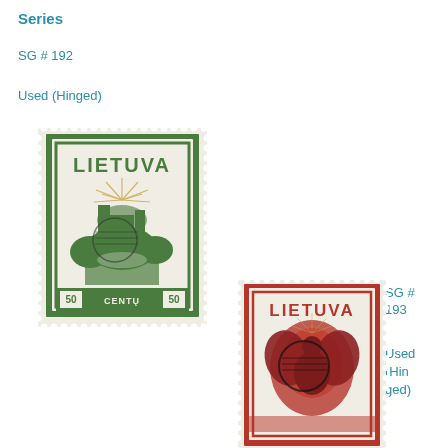Series
SG # 192
Used (Hinged)
[Figure (photo): Lithuanian postage stamp SG #192, green color, showing Lietuva text at top, castle/ruins with sun rays design, 50 centu denomination at bottom, used with hinge mark]
SG # 193
Used (Hinged)
[Figure (photo): Lithuanian postage stamp SG #193, red color, showing Lietuva text at top, eagle/knight design, used with hinge mark, partially cropped at bottom]